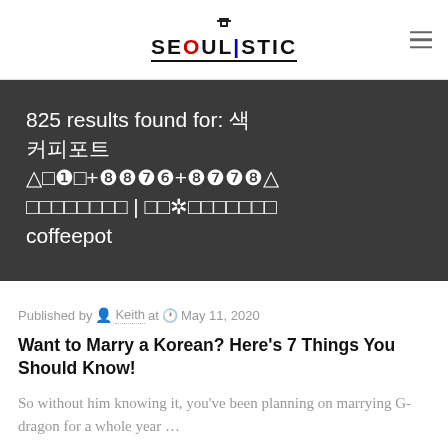SEOULISTIC
825 results found for: 색 커피포트 △□❶□+❽❽❼❻+❽❼❼❽△ □□□□□□□□ | □□✲□□□□□□□ coffeepot
Published by Keith at May 11, 2020
Want to Marry a Korean? Here's 7 Things You Should Know!
So without him knowing it, you've been planning on marrying G-dragon for a whole year …